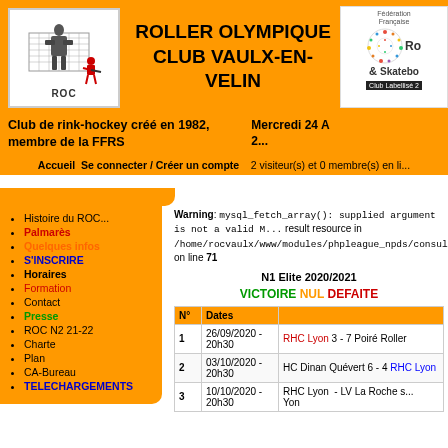[Figure (logo): ROC roller hockey club logo with player and goalkeeper illustration]
ROLLER OLYMPIQUE CLUB VAULX-EN-VELIN
[Figure (logo): Federation Francaise Roller & Skateboard logo with colorful circle, Club Labellise badge]
Club de rink-hockey créé en 1982, membre de la FFRS
Mercredi 24 A... 2...
Accueil  Se connecter / Créer un compte   2 visiteur(s) et 0 membre(s) en li...
Histoire du ROC...
Palmarès
Quelques infos
S'INSCRIRE
Horaires
Formation
Contact
Presse
ROC N2 21-22
Charte
Plan
CA-Bureau
TELECHARGEMENTS
Warning: mysql_fetch_array(): supplied argument is not a valid MySQL result resource in /home/rocvaulx/www/modules/phpleague_npds/consult/deta... on line 71
N1 Elite 2020/2021
VICTOIRE NUL DEFAITE
| N° | Dates |  |
| --- | --- | --- |
| 1 | 26/09/2020 - 20h30 | RHC Lyon 3 - 7 Poiré Roller |
| 2 | 03/10/2020 - 20h30 | HC Dinan Quévert 6 - 4 RHC Lyon |
| 3 | 10/10/2020 - 20h30 | RHC Lyon - LV La Roche s... Yon |